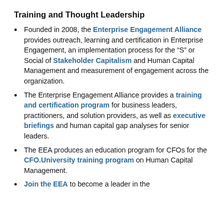Training and Thought Leadership
Founded in 2008, the Enterprise Engagement Alliance provides outreach, learning and certification in Enterprise Engagement, an implementation process for the “S” or Social of Stakeholder Capitalism and Human Capital Management and measurement of engagement across the organization.
The Enterprise Engagement Alliance provides a training and certification program for business leaders, practitioners, and solution providers, as well as executive briefings and human capital gap analyses for senior leaders.
The EEA produces an education program for CFOs for the CFO.University training program on Human Capital Management.
Join the EEA to become a leader in the